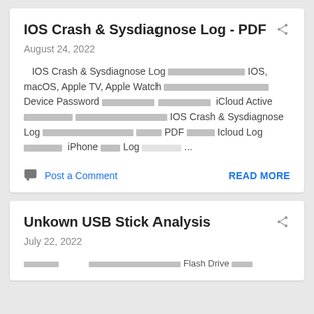IOS Crash & Sysdiagnose Log - PDF
August 24, 2022
IOS Crash & Sysdiagnose Log [redacted] IOS, macOS, Apple TV, Apple Watch [redacted] Device Password [redacted] [redacted] iCloud Active [redacted] [redacted] IOS Crash & Sysdiagnose Log [redacted] [redacted] PDF [redacted] Icloud Log [redacted] iPhone [redacted] Log [redacted] ...
Post a Comment
READ MORE
Unkown USB Stick Analysis
July 22, 2022
[redacted] [redacted] Flash Drive [redacted]